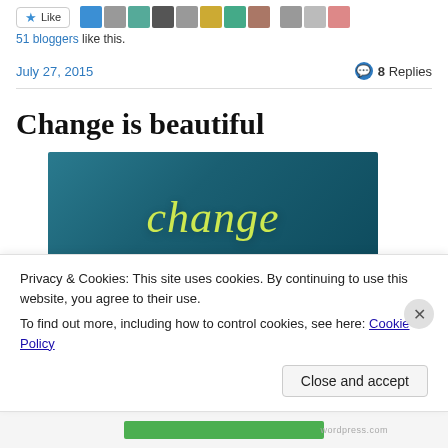[Figure (other): Like button with star icon and a row of blogger avatar thumbnails]
51 bloggers like this.
July 27, 2015    💬 8 Replies
Change is beautiful
[Figure (photo): Teal/blue background image with 'change' written in yellow-green cursive script]
Privacy & Cookies: This site uses cookies. By continuing to use this website, you agree to their use.
To find out more, including how to control cookies, see here: Cookie Policy
Close and accept